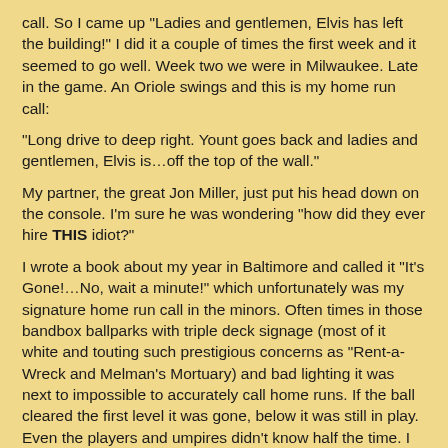call. So I came up "Ladies and gentlemen, Elvis has left the building!" I did it a couple of times the first week and it seemed to go well. Week two we were in Milwaukee. Late in the game. An Oriole swings and this is my home run call:
“Long drive to deep right. Yount goes back and ladies and gentlemen, Elvis is…off the top of the wall.”
My partner, the great Jon Miller, just put his head down on the console. I’m sure he was wondering “how did they ever hire THIS idiot?”
I wrote a book about my year in Baltimore and called it “It’s Gone!…No, wait a minute!” which unfortunately was my signature home run call in the minors. Often times in those bandbox ballparks with triple deck signage (most of it white and touting such prestigious concerns as “Rent-a-Wreck and Melman’s Mortuary) and bad lighting it was next to impossible to accurately call home runs. If the ball cleared the first level it was gone, below it was still in play. Even the players and umpires didn’t know half the time. I started playing it safe by saying “there’s a long drive to deep left field, it’s high, it’s deep, it’s at the top of the signage identification!”